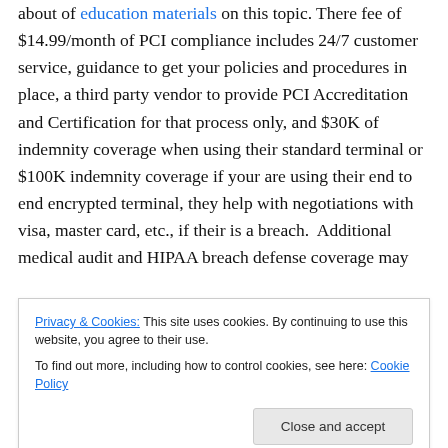about of education materials on this topic. There fee of $14.99/month of PCI compliance includes 24/7 customer service, guidance to get your policies and procedures in place, a third party vendor to provide PCI Accreditation and Certification for that process only, and $30K of indemnity coverage when using their standard terminal or $100K indemnity coverage if your are using their end to end encrypted terminal, they help with negotiations with visa, master card, etc., if their is a breach.  Additional medical audit and HIPAA breach defense coverage may
Privacy & Cookies: This site uses cookies. By continuing to use this website, you agree to their use.
To find out more, including how to control cookies, see here: Cookie Policy
it is important that you ensure your credit card processing